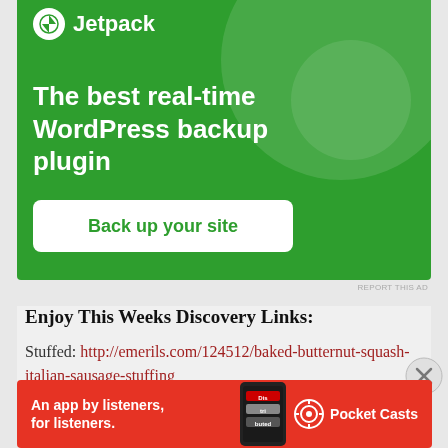[Figure (screenshot): Jetpack WordPress plugin advertisement banner. Green background with white circle decorations. Shows Jetpack logo and name at top, text 'The best real-time WordPress backup plugin', and a white button 'Back up your site'.]
Enjoy This Weeks Discovery Links:
Stuffed: http://emerils.com/124512/baked-butternut-squash-italian-sausage-stuffing
S...
[Figure (screenshot): Pocket Casts advertisement. Red background with phone image showing 'Distributed' app. Text: 'An app by listeners, for listeners.' and Pocket Casts logo.]